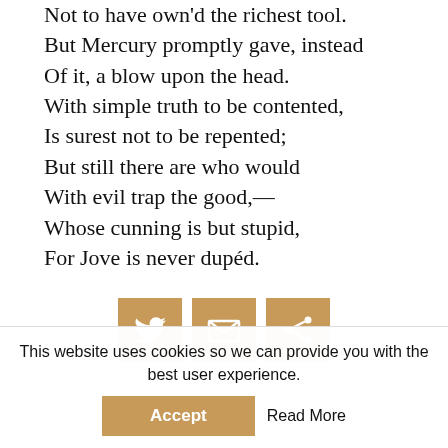Not to have own'd the richest tool.
But Mercury promptly gave, instead
Of it, a blow upon the head.
With simple truth to be contented,
Is surest not to be repented;
But still there are who would
With evil trap the good,—
Whose cunning is but stupid,
For Jove is never dupéd.
[Figure (infographic): Three social sharing buttons in tan/brown color: Twitter bird icon, envelope/mail icon, and share/network icon]
This website uses cookies so we can provide you with the best user experience.
Accept
Read More